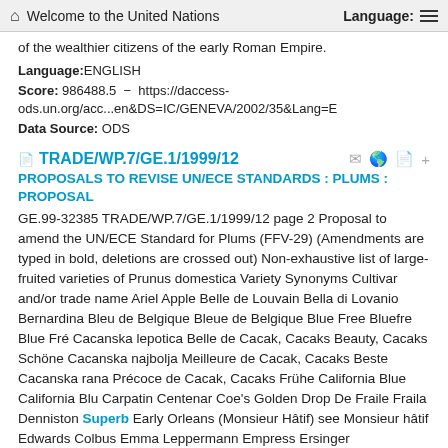Welcome to the United Nations   Language:
of the wealthier citizens of the early Roman Empire.
Language: ENGLISH
Score: 986488.5 - https://daccess-ods.un.org/acc...en&DS=IC/GENEVA/2002/35&Lang=E
Data Source: ODS
TRADE/WP.7/GE.1/1999/12
PROPOSALS TO REVISE UN/ECE STANDARDS : PLUMS : PROPOSAL
GE.99-32385 TRADE/WP.7/GE.1/1999/12 page 2 Proposal to amend the UN/ECE Standard for Plums (FFV-29) (Amendments are typed in bold, deletions are crossed out) Non-exhaustive list of large-fruited varieties of Prunus domestica Variety Synonyms Cultivar and/or trade name Ariel Apple Belle de Louvain Bella di Lovanio Bernardina Bleu de Belgique Bleue de Belgique Blue Free Bluefre Blue Fré Cacanska lepotica Belle de Cacak, Cacaks Beauty, Cacaks Schöne Cacanska najbolja Meilleure de Cacak, Cacaks Beste Cacanska rana Précoce de Cacak, Cacaks Frühe California Blue California Blu Carpatin Centenar Coe's Golden Drop De Fraile Fraila Denniston Superb Early Orleans (Monsieur Hâtif) see Monsieur hâtif Edwards Colbus Emma Leppermann Empress Ersinger Frühzwetsche Giant Burbank Giant Prune Grand Prix Grand Prize Hall Harris Monarch Harris Heron Impérial Epineuse Jefferson Jefferson's Gage Jori's Plum June Blood TRADE/WP.7/GE.1/1999/12 page 3 Kirke's Plum Kirke Magna Glauca Manns Number One Marjorie's Seedling Merton Gage Merton, Mereton Merton Gem Monarch Monsieur hâtif Early Orleans Nueva